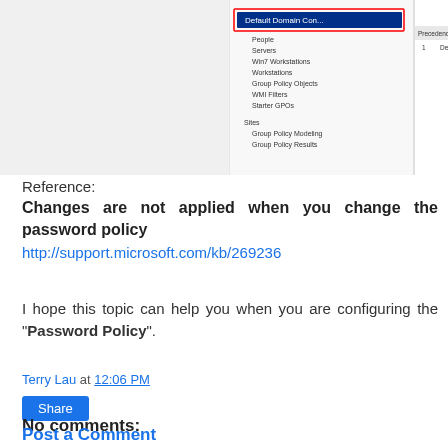[Figure (screenshot): Screenshot of a Windows Group Policy Management Console showing a tree structure with Default Domain Controllers highlighted, and a table with columns for Precedence, GPO, Location, GPO Status showing one entry for Default Domain Controllers.]
Reference:
Changes are not applied when you change the password policy
http://support.microsoft.com/kb/269236
I hope this topic can help you when you are configuring the "Password Policy".
Terry Lau at 12:06 PM
Share
No comments:
Post a Comment